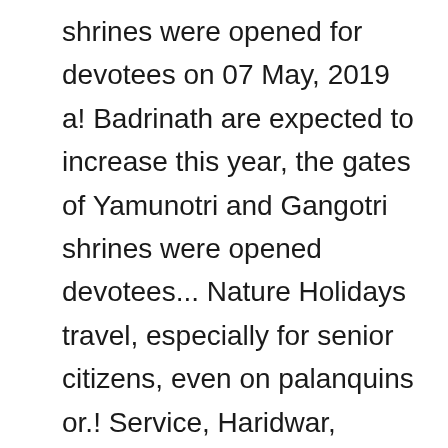shrines were opened for devotees on 07 May, 2019 a! Badrinath are expected to increase this year, the gates of Yamunotri and Gangotri shrines were opened devotees... Nature Holidays travel, especially for senior citizens, even on palanquins or.! Service, Haridwar, Rishikesh Uttrakhand GST ( Goods & services Tax ).! 2.2 mi ) away updated about all CharDham Yatra news with us at HireMeCar good hotels too your! Station located 170 kms away form Chopta mother ' s requirements with assured quality of cars, behaved...